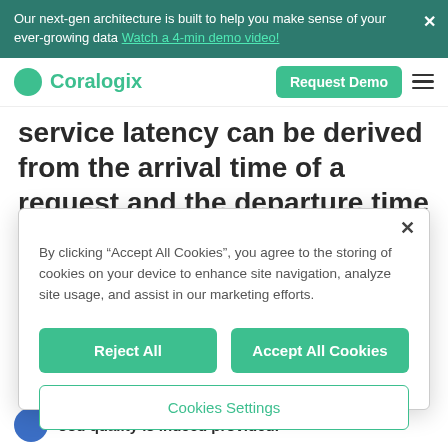Our next-gen architecture is built to help you make sense of your ever-growing data Watch a 4-min demo video!
[Figure (logo): Coralogix logo with green circle and text, navigation bar with Request Demo button and hamburger menu]
service latency can be derived from the arrival time of a request and the departure time of the corresponding response, which
By clicking “Accept All Cookies”, you agree to the storing of cookies on your device to enhance site navigation, analyze site usage, and assist in our marketing efforts.
Reject All
Accept All Cookies
Cookies Settings
ood quality is indeed provided.